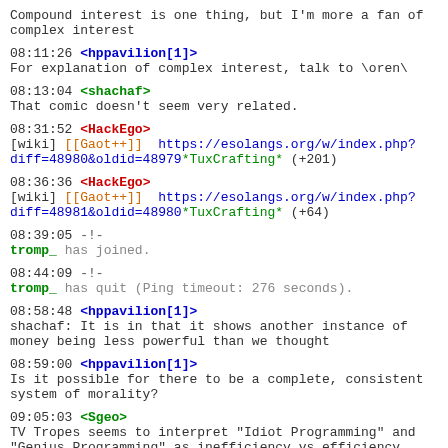Compound interest is one thing, but I'm more a fan of complex interest
08:11:26 <hppavilion[1]>
For explanation of complex interest, talk to \oren\
08:13:04 <shachaf>
That comic doesn't seem very related.
08:31:52 <HackEgo>
[wiki] [[Gaot++]]  https://esolangs.org/w/index.php?diff=48980&oldid=48979*TuxCrafting* (+201)
08:36:36 <HackEgo>
[wiki] [[Gaot++]]  https://esolangs.org/w/index.php?diff=48981&oldid=48980*TuxCrafting* (+64)
08:39:05 -!-
tromp_ has joined.
08:44:09 -!-
tromp_ has quit (Ping timeout: 276 seconds).
08:58:48 <hppavilion[1]>
shachaf: It is in that it shows another instance of money being less powerful than we thought
08:59:00 <hppavilion[1]>
Is it possible for there to be a complete, consistent system of morality?
09:05:03 <Sgeo>
TV Tropes seems to interpret "Idiot Programming" and "Genius Programming" as inefficiency vs efficiency